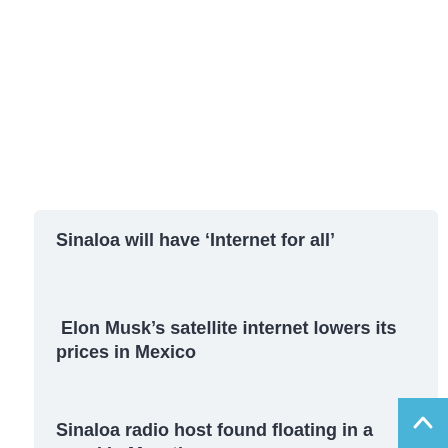www.garciasais.com.mx
Sinaloa will have ‘Internet for all’
Elon Musk’s satellite internet lowers its prices in Mexico
Sinaloa radio host found floating in a canal in Mazatlan